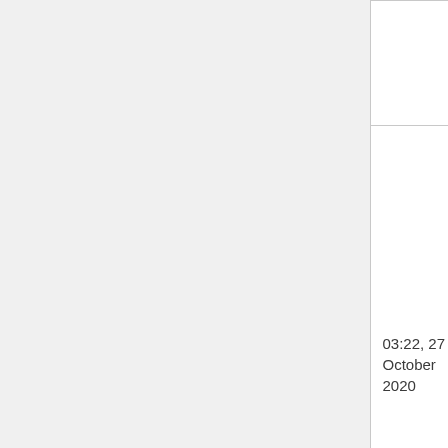| Date | User | Duration |
| --- | --- | --- |
|  |  |  |
| 03:22, 27 October 2020 | RackFinity (talk | contribs) | infin |
| 23:31, 27 April 2020 | Ketir (talk | contribs) | infin |
|  |  |  |